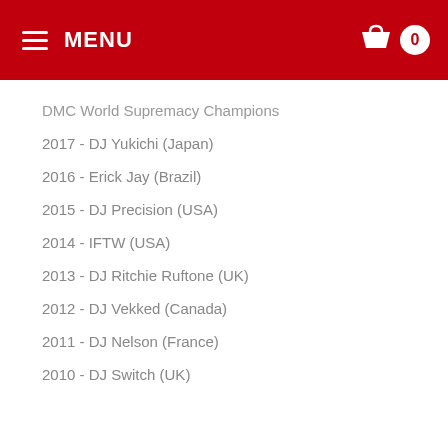MENU
DMC World Supremacy Champions
2017 - DJ Yukichi (Japan)
2016 - Erick Jay (Brazil)
2015 - DJ Precision (USA)
2014 - IFTW (USA)
2013 - DJ Ritchie Ruftone (UK)
2012 - DJ Vekked (Canada)
2011 - DJ Nelson (France)
2010 - DJ Switch (UK)